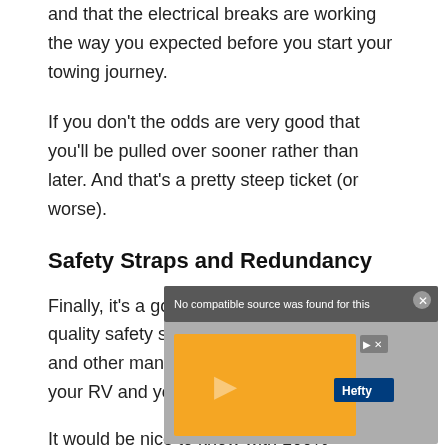and that the electrical breaks are working the way you expected before you start your towing journey.
If you don't the odds are very good that you'll be pulled over sooner rather than later. And that's a pretty steep ticket (or worse).
Safety Straps and Redundancy
Finally, it's a good idea to invest in high-quality safety straps, redundancy hookups, and other manual attachments between your RV and your car carrying configuration.
It would be nice to know with 100% certainty that your
[Figure (screenshot): Video player overlay showing 'No compatible source was found for this' message, partially obscured by an orange Hefty advertisement with a close button.]